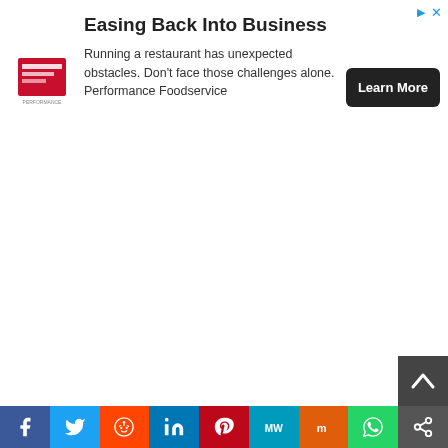[Figure (infographic): Advertisement banner for Performance Foodservice: 'Easing Back Into Business' with logo, description text, and Learn More button]
[Figure (other): Chevron up arrow button (collapse/expand toggle)]
[Figure (other): Back to top button (dark background, chevron up arrow), bottom right]
[Figure (infographic): Social sharing bar at bottom: Facebook, Twitter, Reddit, LinkedIn, Pinterest, MeWe, Mix, WhatsApp, Share icons]